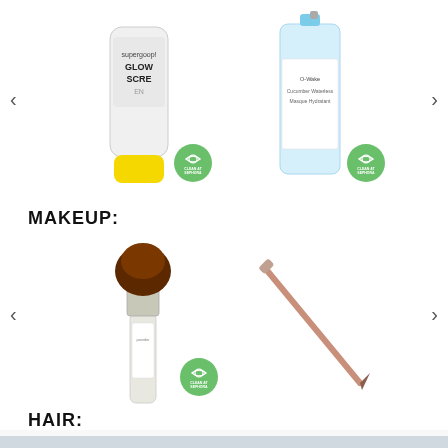[Figure (photo): Skincare products row 1: supergoop Glow Screen with Clean at Sephora badge, and a blue hydrating mask bottle with Clean at Sephora badge, with left and right navigation arrows]
MAKEUP:
[Figure (photo): Makeup products row: powder brush product with Clean at Sephora badge, and a nude lip liner pencil, with left and right navigation arrows]
HAIR:
[Figure (photo): Hair products row: Dyson hair dryer with Allure Best of Beauty badge, and white makeup/highlight sticks with Allure Best of Beauty badge, with left and right navigation arrows]
[Figure (photo): Partial image at bottom of page, cropped]